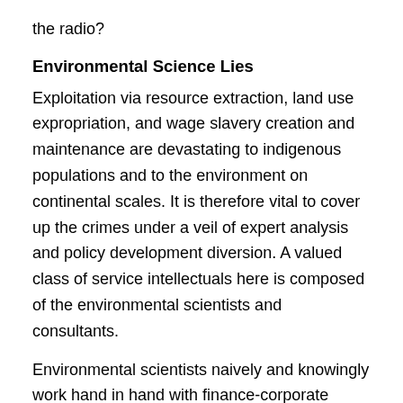the radio?
Environmental Science Lies
Exploitation via resource extraction, land use expropriation, and wage slavery creation and maintenance are devastating to indigenous populations and to the environment on continental scales. It is therefore vital to cover up the crimes under a veil of expert analysis and policy development diversion. A valued class of service intellectuals here is composed of the environmental scientists and consultants.
Environmental scientists naively and knowingly work hand in hand with finance-corporate shysters, mainstream media, politicians, and state and international bureaucrats to mask real problems and to create profit opportunities for